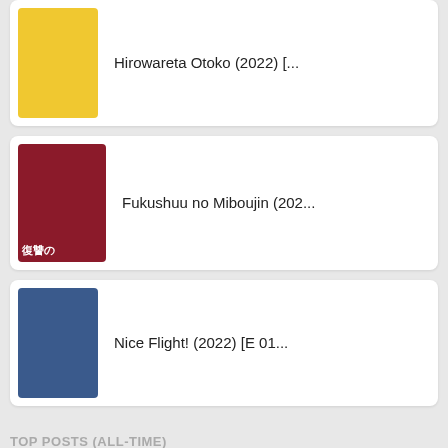Hirowareta Otoko (2022) [...
Fukushuu no Miboujin (202...
Nice Flight! (2022) [E 01...
TOP POSTS (ALL-TIME)
Anata no Ban Desu / 〓〓〓〓?... 44.7k views